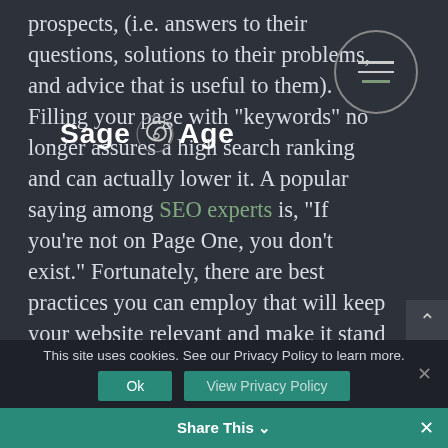[Figure (logo): Sage Age logo with spiral graphic between 'Sage' and 'Age' text]
[Figure (other): Hamburger menu icon inside a circle]
prospects, (i.e. answers to their questions, solutions to their problems, and advice that is useful to them). Filling your page with “keywords” no longer assures a high search ranking and can actually lower it. A popular saying among SEO experts is, “If you’re not on Page One, you don’t exist.” Fortunately, there are best practices you can employ that will keep your website relevant and make it stand out in web searches.
This site uses cookies. See our Privacy Policy to learn more.
Ok
View Privacy Policy
Share This